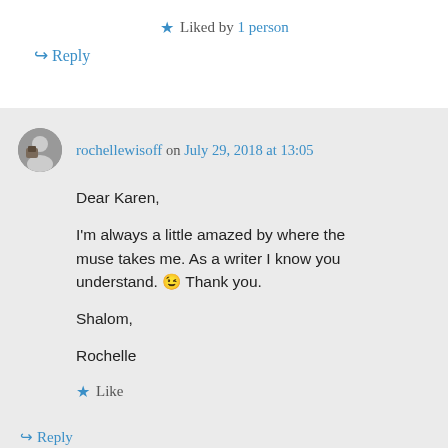★ Liked by 1 person
↪ Reply
rochellewisoff on July 29, 2018 at 13:05
Dear Karen,

I'm always a little amazed by where the muse takes me. As a writer I know you understand. 😉 Thank you.

Shalom,

Rochelle
★ Like
↪ Reply